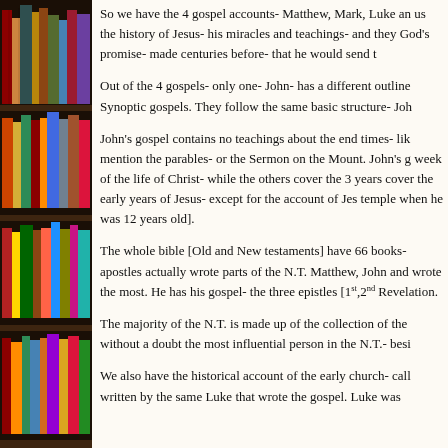[Figure (photo): Left sidebar showing a bookshelf with many colorful books of varying sizes and colors arranged on shelves, photographed from the side.]
So we have the 4 gospel accounts- Matthew, Mark, Luke and John. They give us the history of Jesus- his miracles and teachings- and they show how Jesus fulfills God's promise- made centuries before- that he would send the Messiah.
Out of the 4 gospels- only one- John- has a different outline from the other 3 called the Synoptic gospels. They follow the same basic structure- John does not.
John's gospel contains no teachings about the end times- like the others do- does not mention the parables- or the Sermon on the Mount. John's gospel focuses on the last week of the life of Christ- while the others cover the 3 years of ministry. None of them cover the early years of Jesus- except for the account of Jesus being found in the temple when he was 12 years old].
The whole bible [Old and New testaments] have 66 books- and of these 66 books, 4 apostles actually wrote parts of the N.T. Matthew, John and Peter- but it was John who wrote the most. He has his gospel- the three epistles [1st,2nd,3rd John] and the book of Revelation.
The majority of the N.T. is made up of the collection of the writings of Paul- who is without a doubt the most influential person in the N.T.- besides Jesus of course.
We also have the historical account of the early church- called Acts of the Apostles- written by the same Luke that wrote the gospel. Luke was...